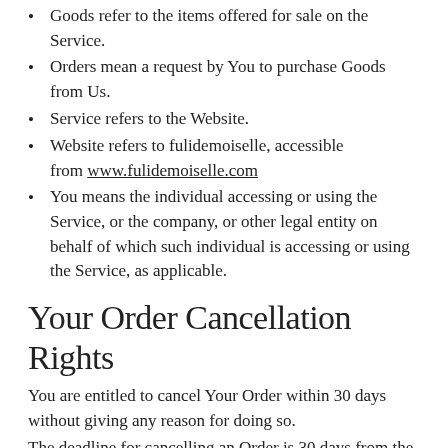Goods refer to the items offered for sale on the Service.
Orders mean a request by You to purchase Goods from Us.
Service refers to the Website.
Website refers to fulidemoiselle, accessible from www.fulidemoiselle.com
You means the individual accessing or using the Service, or the company, or other legal entity on behalf of which such individual is accessing or using the Service, as applicable.
Your Order Cancellation Rights
You are entitled to cancel Your Order within 30 days without giving any reason for doing so.
The deadline for cancelling an Order is 30 days from the date on which You received